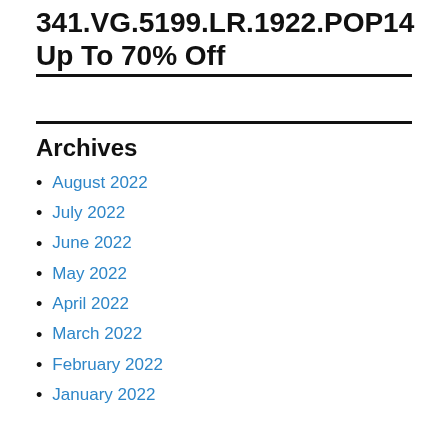341.VG.5199.LR.1922.POP14 Up To 70% Off
Archives
August 2022
July 2022
June 2022
May 2022
April 2022
March 2022
February 2022
January 2022